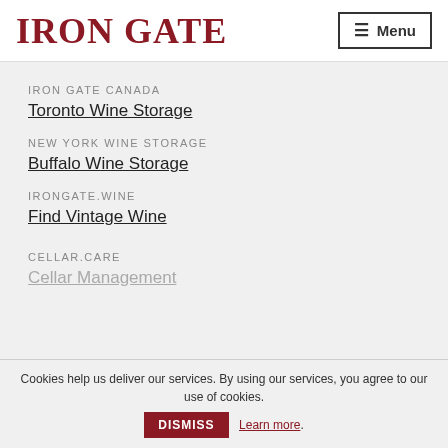Iron Gate
Menu
IRON GATE CANADA
Toronto Wine Storage
NEW YORK WINE STORAGE
Buffalo Wine Storage
IRONGATE.WINE
Find Vintage Wine
CELLAR.CARE
Cellar Management
Cookies help us deliver our services. By using our services, you agree to our use of cookies. DISMISS Learn more.